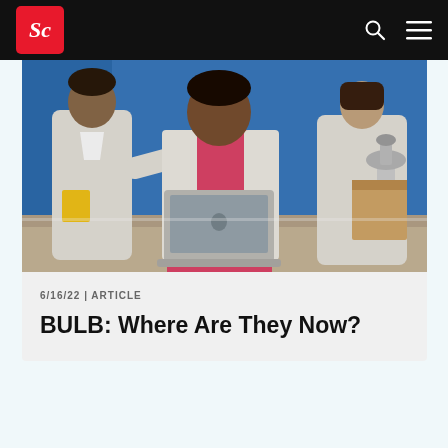Sc | Science (logo) | navigation bar
[Figure (photo): Two people in white lab coats working together over a laptop in a laboratory setting. One person wearing purple gloves is pointing at the laptop screen. A microscope is visible in the background.]
6/16/22 | ARTICLE
BULB: Where Are They Now?